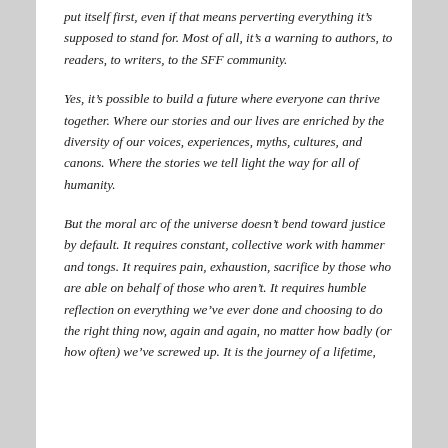put itself first, even if that means perverting everything it's supposed to stand for. Most of all, it's a warning to authors, to readers, to writers, to the SFF community.
Yes, it's possible to build a future where everyone can thrive together. Where our stories and our lives are enriched by the diversity of our voices, experiences, myths, cultures, and canons. Where the stories we tell light the way for all of humanity.
But the moral arc of the universe doesn't bend toward justice by default. It requires constant, collective work with hammer and tongs. It requires pain, exhaustion, sacrifice by those who are able on behalf of those who aren't. It requires humble reflection on everything we've ever done and choosing to do the right thing now, again and again, no matter how badly (or how often) we've screwed up. It is the journey of a lifetime,